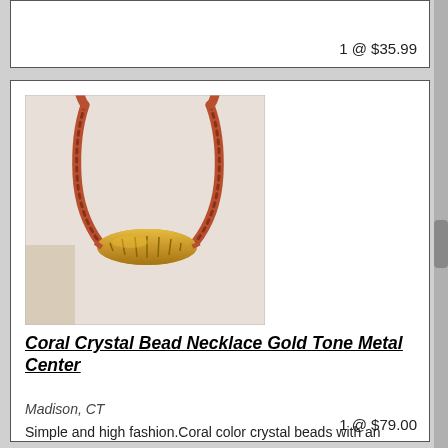1 @ $35.99
[Figure (photo): A coral crystal bead necklace with a gold tone metal center bead, shown laid out against a white/off-white background.]
Coral Crystal Bead Necklace Gold Tone Metal Center
Madison, CT
Simple and high fashion.Coral color crystal beads with an oblong gold etched metal bead center.Necklace measures 16" and has a 3" inch extender to adjust length.Secure lobster clasp.One of a kind. ... more
1 @ $79.00